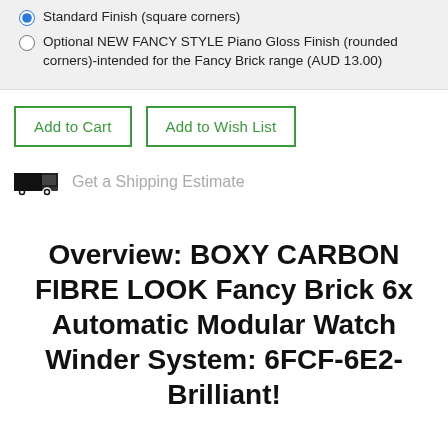Standard Finish (square corners)
Optional NEW FANCY STYLE Piano Gloss Finish (rounded corners)-intended for the Fancy Brick range (AUD 13.00)
Add to Cart
Add to Wish List
Get a Shipping Estimate
Overview: BOXY CARBON FIBRE LOOK Fancy Brick 6x Automatic Modular Watch Winder System: 6FCF-6E2-Brilliant!